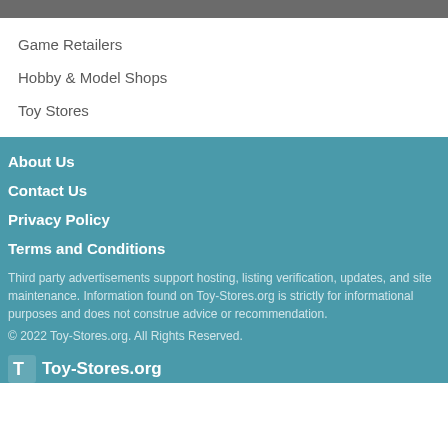Game Retailers
Hobby & Model Shops
Toy Stores
About Us
Contact Us
Privacy Policy
Terms and Conditions
Third party advertisements support hosting, listing verification, updates, and site maintenance. Information found on Toy-Stores.org is strictly for informational purposes and does not construe advice or recommendation.
© 2022 Toy-Stores.org. All Rights Reserved.
Toy-Stores.org